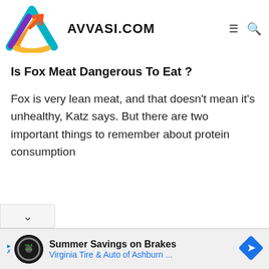AVVASI.COM
Is Fox Meat Dangerous To Eat ?
Fox is very lean meat, and that doesn't mean it's unhealthy, Katz says. But there are two important things to remember about protein consumption
[Figure (logo): Avvasi logo - colorful triangular/arrow shape with orange, purple, teal and yellow colors]
Summer Savings on Brakes Virginia Tire & Auto of Ashburn ...